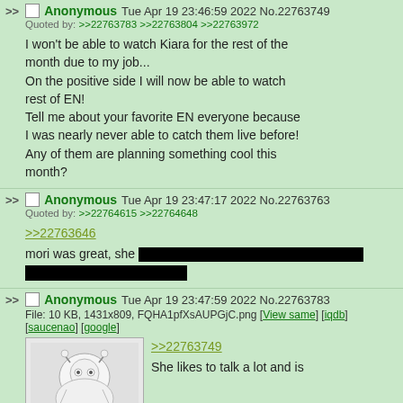>> Anonymous Tue Apr 19 23:46:59 2022 No.22763749
Quoted by: >>22763783 >>22763804 >>22763972
I won't be able to watch Kiara for the rest of the month due to my job...
On the positive side I will now be able to watch rest of EN!
Tell me about your favorite EN everyone because I was nearly never able to catch them live before!
Any of them are planning something cool this month?
>> Anonymous Tue Apr 19 23:47:17 2022 No.22763763
Quoted by: >>22764615 >>22764648
>>22763646
mori was great, she [redacted]
>> Anonymous Tue Apr 19 23:47:59 2022 No.22763783
File: 10 KB, 1431x809, FQHA1pfXsAUPGjC.png [View same] [iqdb] [saucenao] [google]
>>22763749
She likes to talk a lot and is